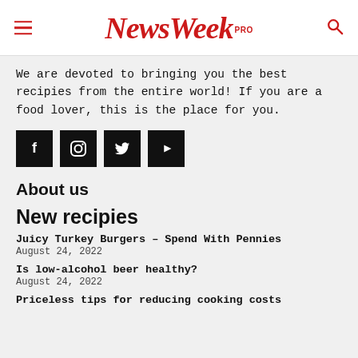NewsWeek PRO
We are devoted to bringing you the best recipies from the entire world! If you are a food lover, this is the place for you.
[Figure (other): Four black square social media icon buttons: Facebook (f), Instagram (circle/camera), Twitter (bird), YouTube (play triangle)]
About us
New recipies
Juicy Turkey Burgers – Spend With Pennies
August 24, 2022
Is low-alcohol beer healthy?
August 24, 2022
Priceless tips for reducing cooking costs